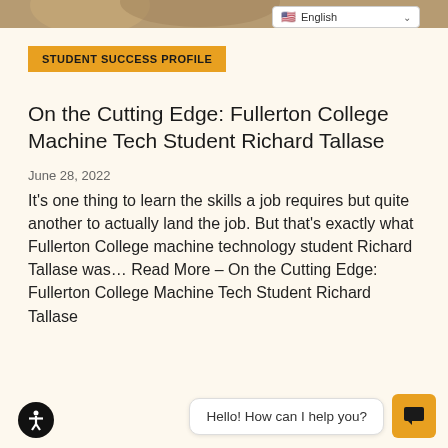[Figure (photo): Top strip showing partial image of a person, cropped at the top of the page]
English (language selector dropdown)
STUDENT SUCCESS PROFILE
On the Cutting Edge: Fullerton College Machine Tech Student Richard Tallase
June 28, 2022
It’s one thing to learn the skills a job requires but quite another to actually land the job. But that’s exactly what Fullerton College machine technology student Richard Tallase was… Read More – On the Cutting Edge: Fullerton College Machine Tech Student Richard Tallase
Hello! How can I help you?